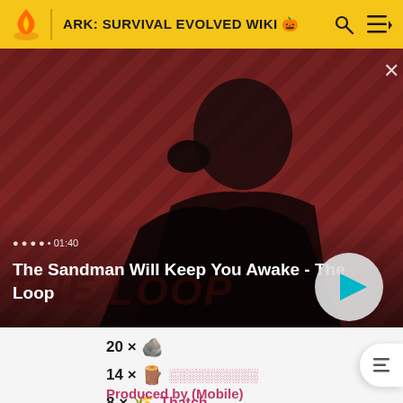ARK: SURVIVAL EVOLVED WIKI
[Figure (screenshot): Video thumbnail for 'The Sandman Will Keep You Awake - The Loop' showing a dark figure with a raven on a red diagonal-striped background. Duration shown as 01:40. Play button visible.]
20 × [stone icon]
14 × [wood icon] [linked text in pink]
8 × [thatch icon] Thatch